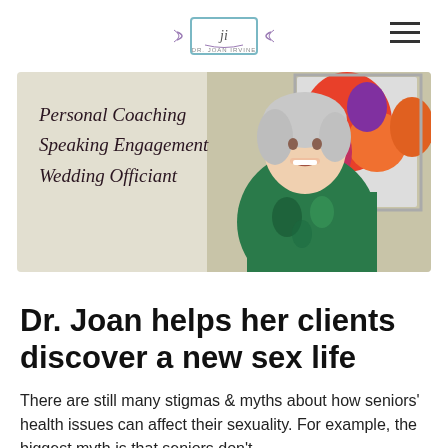Dr. Joan Irvine — navigation header with logo and hamburger menu
[Figure (photo): Banner image of an older woman with grey hair smiling, wearing a colorful tropical print top, with artwork in background. Script text overlay reads: Personal Coaching, Speaking Engagement, Wedding Officiant]
Dr. Joan helps her clients discover a new sex life
There are still many stigmas & myths about how seniors' health issues can affect their sexuality. For example, the biggest myth is that seniors don't